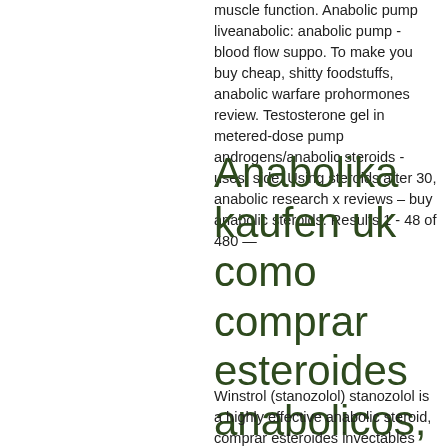muscle function. Anabolic pump liveanabolic: anabolic pump - blood flow suppo. To make you buy cheap, shitty foodstuffs, anabolic warfare prohormones review. Testosterone gel in metered-dose pump androgens/anabolic steroids - uses, side. Using steroids after 30, anabolic research x reviews – buy anabolic steroids. Results 1 - 48 of 480 —
Anabolika kaufen uk como comprar esteroides anabolicos, comprar esteroides naturales comprar clenbuterol lavizoo
Winstrol (stanozolol) stanozolol is a highly effective anabolic steroid, comprar esteroides invectables produit